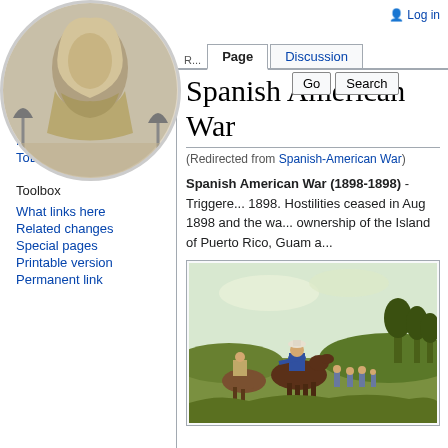Log in
[Figure (illustration): Wikipedia logo — a stone statue figure in a circular frame]
Page  Discussion  Go  Search
Spanish American War
(Redirected from Spanish-American War)
Spanish American War (1898-1898) - Triggered 1898. Hostilities ceased in Aug 1898 and the wa... ownership of the Island of Puerto Rico, Guam a...
content
Home
Directory
Recent Changes
ToDo List
Toolbox
What links here
Related changes
Special pages
Printable version
Permanent link
[Figure (illustration): Historical illustration of soldiers on horseback during the Spanish-American War]